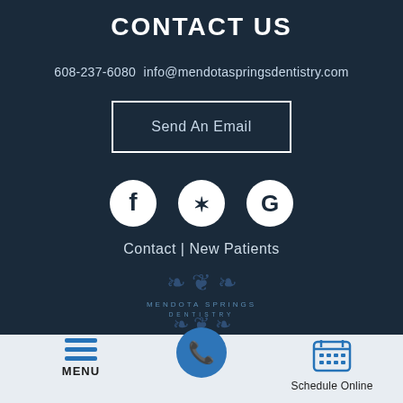CONTACT US
608-237-6080  info@mendotaspringsdentistry.com
Send An Email
[Figure (infographic): Social media icons: Facebook, Yelp, Google]
Contact | New Patients
[Figure (logo): Mendota Springs Dentistry ornate logo with floral scrollwork]
MENU  [phone icon]  Schedule Online